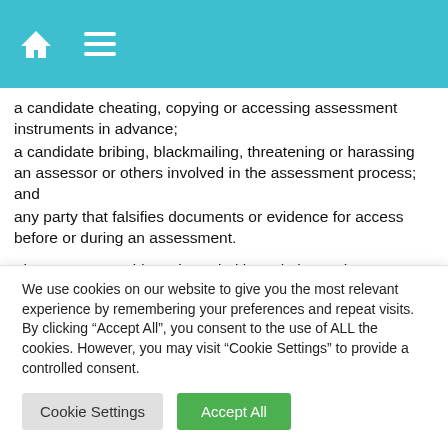Navigation header bar with home and menu icons
a candidate cheating, copying or accessing assessment instruments in advance;
a candidate bribing, blackmailing, threatening or harassing an assessor or others involved in the assessment process; and
any party that falsifies documents or evidence for access before or during an assessment.
The AOP must address irregularities relating to the integrated
We use cookies on our website to give you the most relevant experience by remembering your preferences and repeat visits. By clicking "Accept All", you consent to the use of ALL the cookies. However, you may visit "Cookie Settings" to provide a controlled consent.